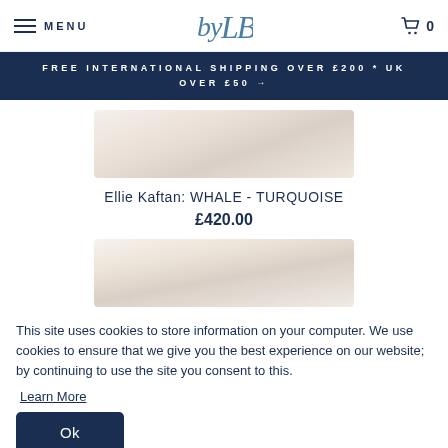MENU | by LB logo | 0
FREE INTERNATIONAL SHIPPING OVER £200 * UK OVER £50 →
[Figure (photo): Product image of kaftan, blurred/obscured]
Ellie Kaftan: WHALE - TURQUOISE
£420.00
[Figure (photo): Second product image of kaftan, blurred/obscured]
This site uses cookies to store information on your computer. We use cookies to ensure that we give you the best experience on our website; by continuing to use the site you consent to this.
Learn More
Ok
[Figure (photo): Third product image partially visible at bottom]